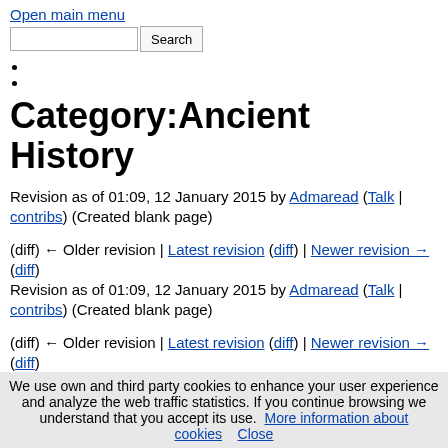Open main menu
Category:Ancient History
Revision as of 01:09, 12 January 2015 by Admaread (Talk | contribs) (Created blank page)
(diff) ← Older revision | Latest revision (diff) | Newer revision → (diff)
Revision as of 01:09, 12 January 2015 by Admaread (Talk | contribs) (Created blank page)
(diff) ← Older revision | Latest revision (diff) | Newer revision → (diff)
We use own and third party cookies to enhance your user experience and analyze the web traffic statistics. If you continue browsing we understand that you accept its use. More information about cookies   Close